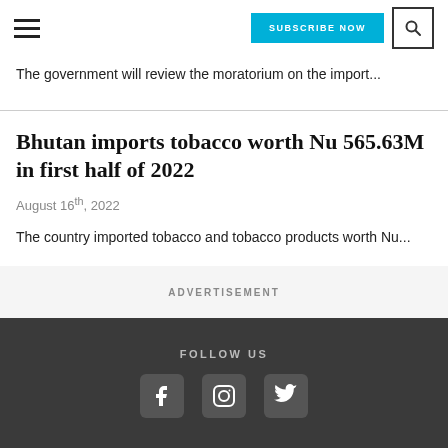SUBSCRIBE NOW
The government will review the moratorium on the import...
Bhutan imports tobacco worth Nu 565.63M in first half of 2022
August 16th, 2022
The country imported tobacco and tobacco products worth Nu...
ADVERTISEMENT
FOLLOW US